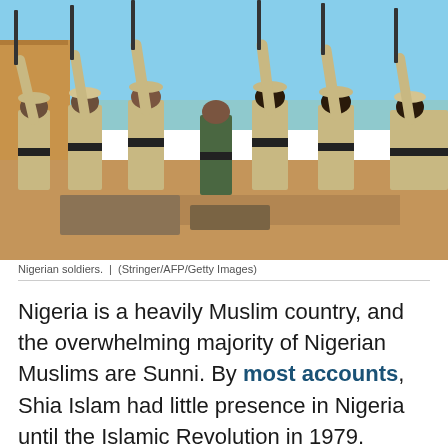[Figure (photo): Nigerian soldiers in desert camouflage uniforms holding rifles raised in the air, standing in a line outdoors. One soldier in green camouflage stands among them. Sandy ground, yellow/orange building wall visible in background, blue sky.]
Nigerian soldiers.  |  (Stringer/AFP/Getty Images)
Nigeria is a heavily Muslim country, and the overwhelming majority of Nigerian Muslims are Sunni. By most accounts, Shia Islam had little presence in Nigeria until the Islamic Revolution in 1979.